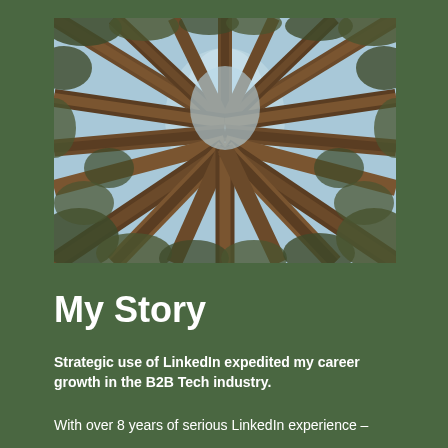[Figure (photo): Upward-looking photograph through tall pine trees with branches and foliage against a blue sky, creating a radial starburst pattern of tree trunks converging at the center top.]
My Story
Strategic use of LinkedIn expedited my career growth in the B2B Tech industry.
With over 8 years of serious LinkedIn experience –